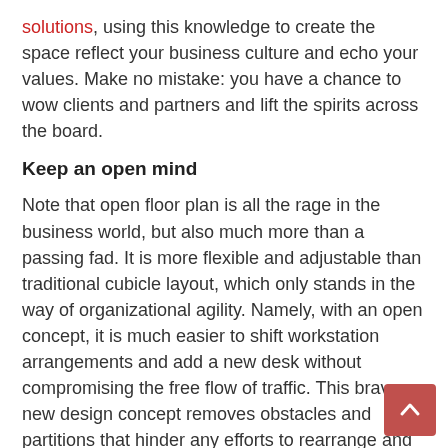solutions, using this knowledge to create the space reflect your business culture and echo your values. Make no mistake: you have a chance to wow clients and partners and lift the spirits across the board.
Keep an open mind
Note that open floor plan is all the rage in the business world, but also much more than a passing fad. It is more flexible and adjustable than traditional cubicle layout, which only stands in the way of organizational agility. Namely, with an open concept, it is much easier to shift workstation arrangements and add a new desk without compromising the free flow of traffic. This brave new design concept removes obstacles and partitions that hinder any efforts to rearrange and rethink the work environment.
Furthermore, employees are bestowed with more freedom to choose. They are able to move around, change positions, and achieve greater overall mobility. Moreover, open layout spurs cross-team cooperation, impromptu meetings, and chance encounters. Hence, it is capable of